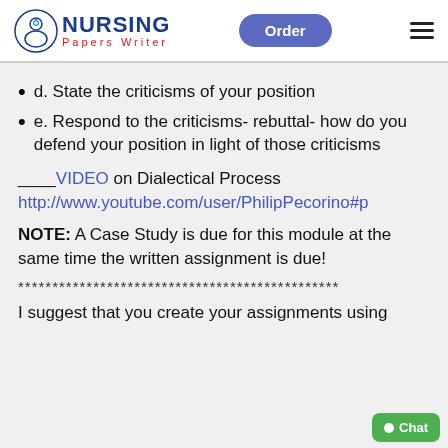NURSING Papers Writer | Order
d.  State the criticisms of your position
e.  Respond to the criticisms- rebuttal- how do you defend your position in light of those criticisms
____VIDEO on Dialectical Process http://www.youtube.com/user/PhilipPecorino#p
NOTE:  A Case Study is due for this module at the same time the written assignment is due!
***********************************************
I suggest that you create your assignments using